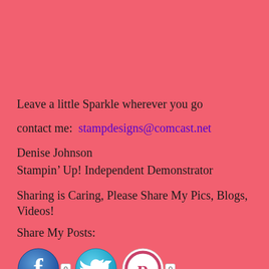Leave a little Sparkle wherever you go
contact me:  stampdesigns@comcast.net
Denise Johnson
Stampin’ Up! Independent Demonstrator
Sharing is Caring, Please Share My Pics, Blogs, Videos!
Share My Posts:
[Figure (infographic): Facebook icon with count badge showing 0, Twitter icon, Pinterest icon with count badge showing 0]